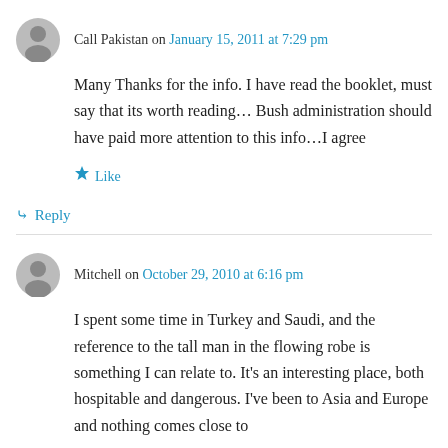Call Pakistan on January 15, 2011 at 7:29 pm
Many Thanks for the info. I have read the booklet, must say that its worth reading… Bush administration should have paid more attention to this info…I agree
Like
Reply
Mitchell on October 29, 2010 at 6:16 pm
I spent some time in Turkey and Saudi, and the reference to the tall man in the flowing robe is something I can relate to. It's an interesting place, both hospitable and dangerous. I've been to Asia and Europe and nothing comes close to